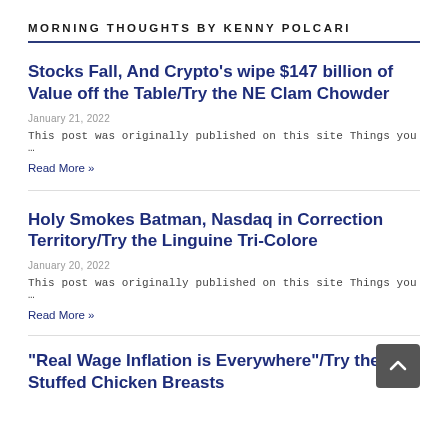MORNING THOUGHTS BY KENNY POLCARI
Stocks Fall, And Crypto's wipe $147 billion of Value off the Table/Try the NE Clam Chowder
January 21, 2022
This post was originally published on this site Things you …
Read More »
Holy Smokes Batman, Nasdaq in Correction Territory/Try the Linguine Tri-Colore
January 20, 2022
This post was originally published on this site Things you …
Read More »
“Real Wage Inflation is Everywhere”/Try the Stuffed Chicken Breasts